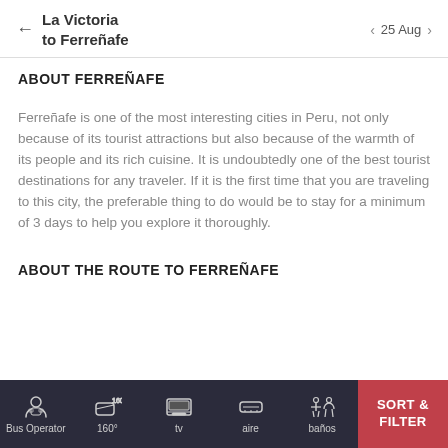La Victoria to Ferreñafe | 25 Aug
ABOUT FERREÑAFE
Ferreñafe is one of the most interesting cities in Peru, not only because of its tourist attractions but also because of the warmth of its people and its rich cuisine. It is undoubtedly one of the best tourist destinations for any traveler. If it is the first time that you are traveling to this city, the preferable thing to do would be to stay for a minimum of 3 days to help you explore it thoroughly.
ABOUT THE ROUTE TO FERREÑAFE
Bus Operator | 160° | tv | aire | baños | SORT & FILTER